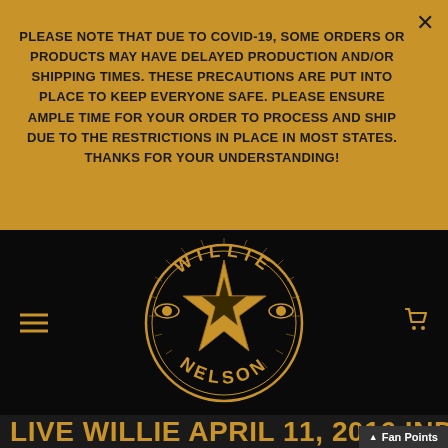PLEASE NOTE THAT DUE TO COVID-19, SOME ORDERS OR PRODUCTS MAY HAVE DELAYED PRODUCTION AND/OR SHIPPING TIMES. THESE PRECAUTIONS ARE PUT INTO PLACE TO KEEP EVERYONE SAFE. PLEASE ENSURE AMPLE TIME FOR YOUR ORDER TO PROCESS AND SHIP DUE TO THE RESTRICTIONS IN PLACE IN MOST STATES. THANKS FOR YOUR UNDERSTANDING!
[Figure (logo): Willie Nelson circular star logo with text 'WILLIE' at top and 'NELSON' at bottom in gold/tan on black background]
LIVE WILLIE APRIL 11, 2016 INDEPENDE...